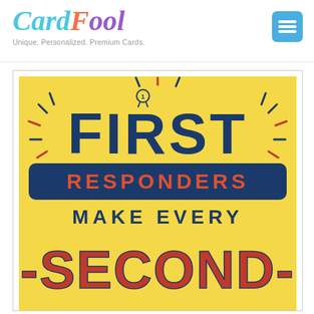[Figure (logo): CardFool logo with colorful text: 'Card' in teal/blue italic, 'F' in orange italic, 'ool' in purple italic, with tagline 'Unique. Personalized. Premium Cards.' below]
[Figure (illustration): Greeting card image on yellow background with hand-lettered text: 'FIRST' in dark blue at top with decorative dashes/rays, 'RESPONDERS' in red on dark blue banner, 'MAKE EVERY' in dark blue, '-SECOND-' in red at bottom. First Responders appreciation card.]
[Figure (illustration): Hamburger menu icon - three horizontal white lines on blue rounded square button in top right corner]